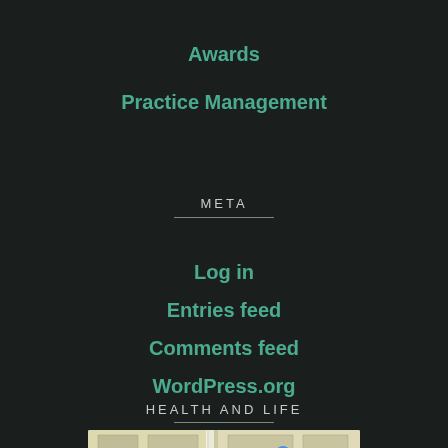Awards
Practice Management
META
Log in
Entries feed
Comments feed
WordPress.org
HEALTH AND LIFE
[Figure (map): Map showing Rundle Mall location]